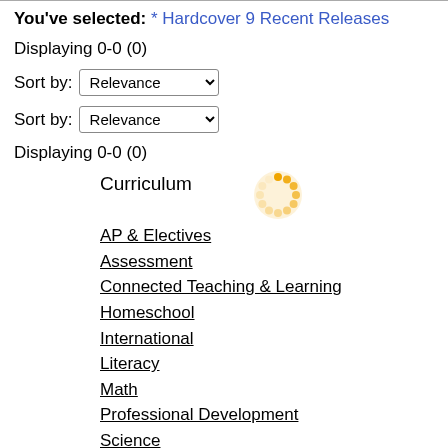You've selected: * Hardcover 9 Recent Releases
Displaying 0-0 (0)
Sort by: Relevance
Sort by: Relevance
Displaying 0-0 (0)
Curriculum
[Figure (other): Orange spinning/loading indicator icon]
AP & Electives
Assessment
Connected Teaching & Learning
Homeschool
International
Literacy
Math
Professional Development
Science
Social Studies
State Specific Solutions